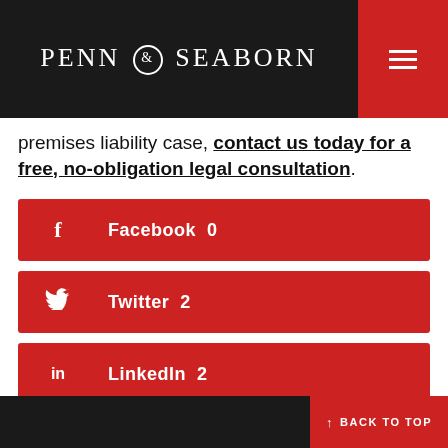Penn & Seaborn
premises liability case, contact us today for a free, no-obligation legal consultation.
Facebook  0
Twitter  2
LinkedIn  2
↑ BACK TO TOP